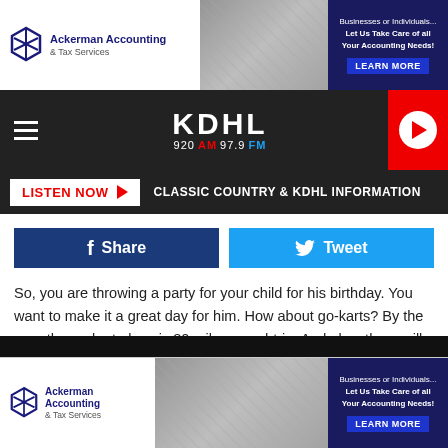[Figure (screenshot): Top advertisement banner for Ackerman Accounting & Tax Services with logo, background photo, and Learn More button]
[Figure (screenshot): KDHL 920 AM 97.9 FM radio station navigation bar with hamburger menu, station logo, and red play button]
[Figure (screenshot): Listen Now button bar with Classic Country & KDHL Information label]
[Figure (screenshot): Facebook Share and Tweet social media buttons]
So, you are throwing a party for your child for his birthday. You want to make it a great day for him.  How about go-karts?  By the way, the go-kart place is 80 miles round-trip.  And also, there will be a lunch for everyone too.  Sounds like a good day, right?  Well, not when the guests are all being charged for all of the activities above.
[Figure (screenshot): Bottom advertisement banner for Ackerman Accounting & Tax Services]